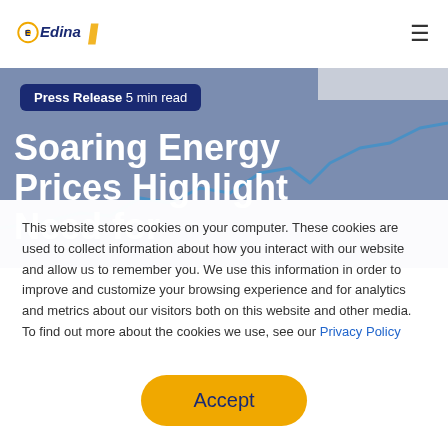[Figure (logo): Edina company logo with circular yellow/orange icon and blue text]
≡ (hamburger menu icon)
Press Release 5 min read
Soaring Energy Prices Highlight Need for
[Figure (continuous-plot): Blue upward-trending line chart in the hero background area]
This website stores cookies on your computer. These cookies are used to collect information about how you interact with our website and allow us to remember you. We use this information in order to improve and customize your browsing experience and for analytics and metrics about our visitors both on this website and other media. To find out more about the cookies we use, see our Privacy Policy
Accept